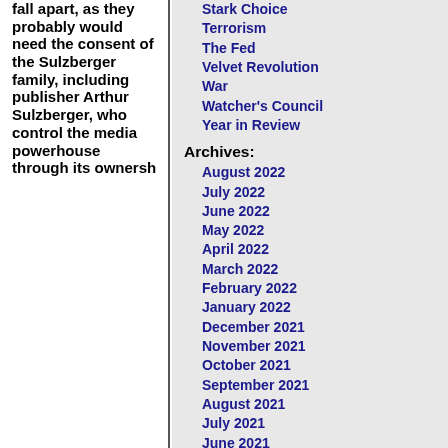fall apart, as they probably would need the consent of the Sulzberger family, including publisher Arthur Sulzberger, who control the media powerhouse through its ownership
Stark Choice
Terrorism
The Fed
Velvet Revolution
War
Watcher's Council
Year in Review
Archives:
August 2022
July 2022
June 2022
May 2022
April 2022
March 2022
February 2022
January 2022
December 2021
November 2021
October 2021
September 2021
August 2021
July 2021
June 2021
May 2021
April 2021
March 2021
February 2021
January 2021
December 2020
November 2020
October 2020